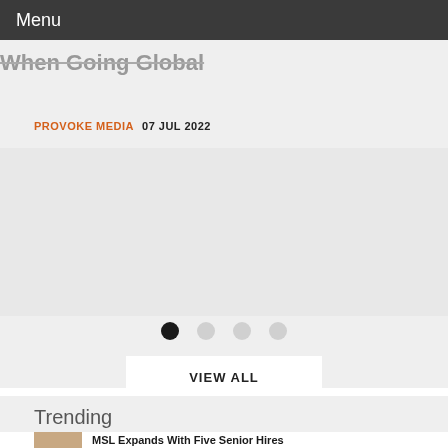Menu
When Going Global
PROVOKE MEDIA  07 JUL 2022
[Figure (other): Carousel image placeholder area (light gray background)]
VIEW ALL
Trending
MSL Expands With Five Senior Hires